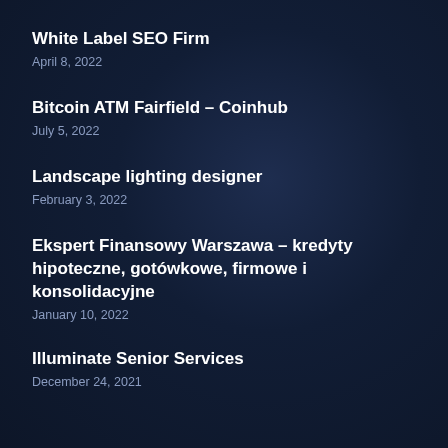White Label SEO Firm
April 8, 2022
Bitcoin ATM Fairfield – Coinhub
July 5, 2022
Landscape lighting designer
February 3, 2022
Ekspert Finansowy Warszawa – kredyty hipoteczne, gotówkowe, firmowe i konsolidacyjne
January 10, 2022
Illuminate Senior Services
December 24, 2021